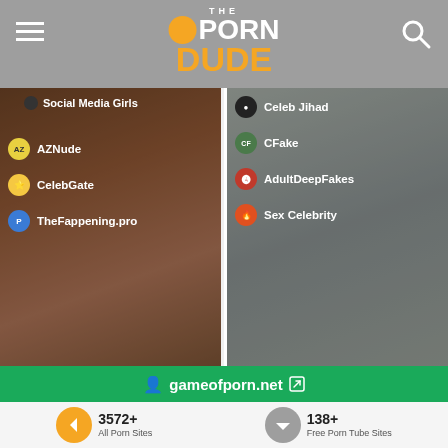[Figure (screenshot): The Porn Dude website header with hamburger menu, logo with orange hard hat icon, and search icon on gray background]
[Figure (screenshot): Left panel showing Social Media Girls category with site list: AZNude, CelebGate, TheFappening.pro over lifestyle photo background]
[Figure (screenshot): Right panel showing Celeb Jihad, CFake, AdultDeepFakes, Sex Celebrity over face photo background]
🦅 PREMIUM NUDE CELEBRITIES
🗨 PORN FORUMS
[Figure (screenshot): gameofporn.net green banner advertisement]
[Figure (screenshot): Premium Nude Celebrities section showing 5+ sites: BannedSextapes, Mr Skin]
[Figure (screenshot): Porn Forums section showing 42+ sites: PlanetSuzy, ViperGirls]
3572+
All Porn Sites
138+
Free Porn Tube Sites